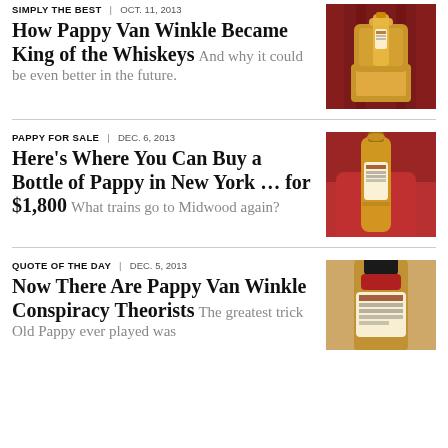SIMPLY THE BEST | OCT. 11, 2013
How Pappy Van Winkle Became King of the Whiskeys
And why it could be even better in the future.
[Figure (photo): Whiskey bottle on ornate golden throne with red curtain background]
PAPPY FOR SALE | DEC. 6, 2013
Here's Where You Can Buy a Bottle of Pappy in New York … for $1,800
What trains go to Midwood again?
[Figure (photo): Person holding a Pappy Van Winkle bottle wrapped in red velvet]
QUOTE OF THE DAY | DEC. 5, 2013
Now There Are Pappy Van Winkle Conspiracy Theorists
The greatest trick Old Pappy ever played was
[Figure (photo): Close-up of a Pappy Van Winkle whiskey bottle with red wax top]